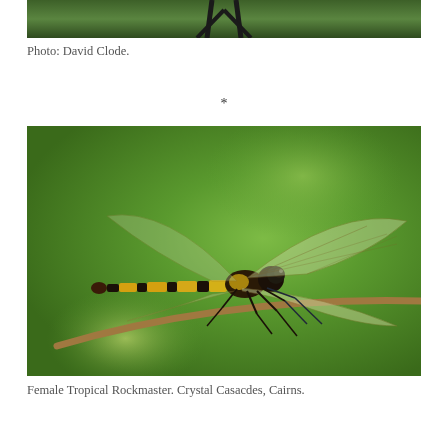[Figure (photo): Partial photo showing bottom of image — dark tripod legs against green background, cropped at top of page]
Photo: David Clode.
*
[Figure (photo): Close-up photograph of a female Tropical Rockmaster dragonfly perched on a slender brown twig. The dragonfly has a long abdomen with yellow and black banding, large translucent wings with brown veining, and large compound eyes. Background is a soft blurred green bokeh.]
Female Tropical Rockmaster. Crystal Casacdes, Cairns.